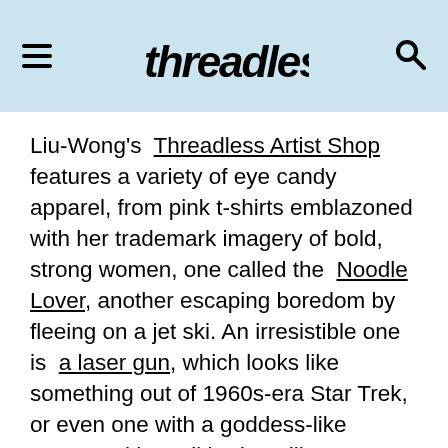Threadless [logo with hamburger menu and search icon]
Liu-Wong's Threadless Artist Shop features a variety of eye candy apparel, from pink t-shirts emblazoned with her trademark imagery of bold, strong women, one called the Noodle Lover, another escaping boredom by fleeing on a jet ski. An irresistible one is a laser gun, which looks like something out of 1960s-era Star Trek, or even one with a goddess-like woman with a slithering alligator. Melting ice cream and Marie Antoinette cakes are also a recurring theme in her work, too.